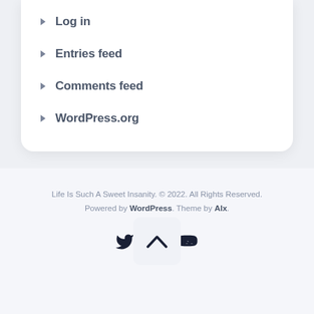Log in
Entries feed
Comments feed
WordPress.org
[Figure (other): Scroll-to-top button with upward chevron arrow]
Life Is Such A Sweet Insanity. © 2022. All Rights Reserved. Powered by WordPress. Theme by Alx.
[Figure (other): Social media icons: Twitter (bird), Instagram, Mastodon]